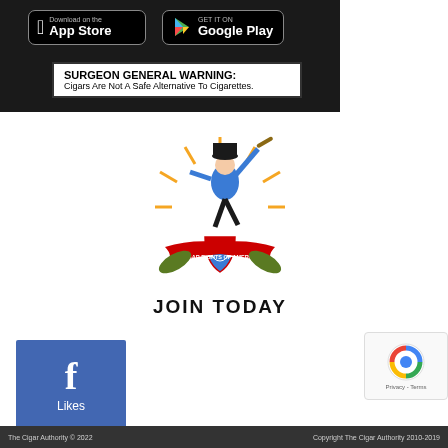[Figure (screenshot): App Store and Google Play download buttons on dark background]
SURGEON GENERAL WARNING:
Cigars Are Not A Safe Alternative To Cigarettes.
[Figure (logo): Cigar Rights of America logo with revolutionary figure holding cigar aloft, shield and banner reading CIGAR RIGHTS OF AMERICA, with JOIN TODAY text below]
[Figure (logo): Facebook Likes button - blue square with f logo and Likes text]
[Figure (other): Google reCAPTCHA badge with Privacy and Terms links]
The Cigar Authority © 2022   Copyright The Cigar Authority 2010-2019